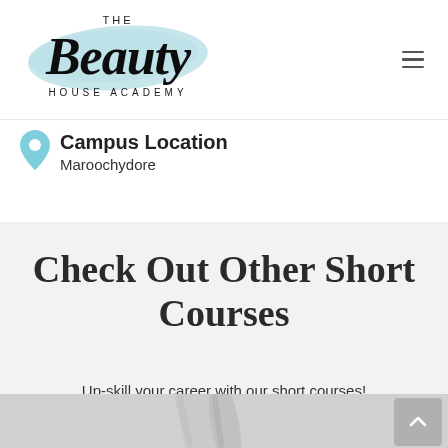[Figure (logo): The Beauty House Academy logo — script 'Beauty' in black over a light blue brushstroke background, with 'THE' above and 'HOUSE ACADEMY' below in spaced caps.]
Campus Location
Maroochydore
Check Out Other Short Courses
Up-skill your career with our short courses!
[Figure (photo): Partial photo of beauty/salon equipment at the bottom of the page.]